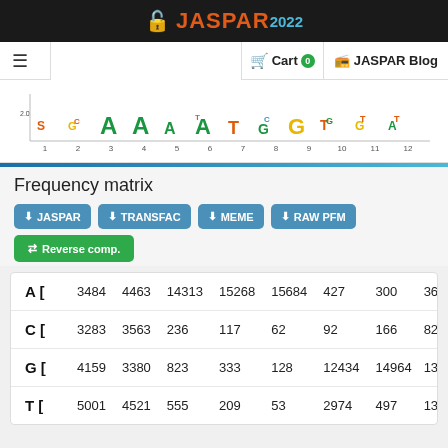JASPAR 2022
[Figure (other): JASPAR navigation bar with Cart and JASPAR Blog links]
[Figure (other): DNA sequence logo motif visualization showing nucleotide frequencies at 12 positions, with colored letters (A=green, C=blue, G=yellow, T=red)]
Frequency matrix
[Figure (other): Download buttons: JASPAR, TRANSFAC, MEME, RAW PFM (blue) and Reverse comp. (green)]
|  | col1 | col2 | col3 | col4 | col5 | col6 | col7 | col8 |
| --- | --- | --- | --- | --- | --- | --- | --- | --- |
| A [ | 3484 | 4463 | 14313 | 15268 | 15684 | 427 | 300 | 36… |
| C [ | 3283 | 3563 | 236 | 117 | 62 | 92 | 166 | 82… |
| G [ | 4159 | 3380 | 823 | 333 | 128 | 12434 | 14964 | 13… |
| T [ | 5001 | 4521 | 555 | 209 | 53 | 2974 | 497 | 13… |